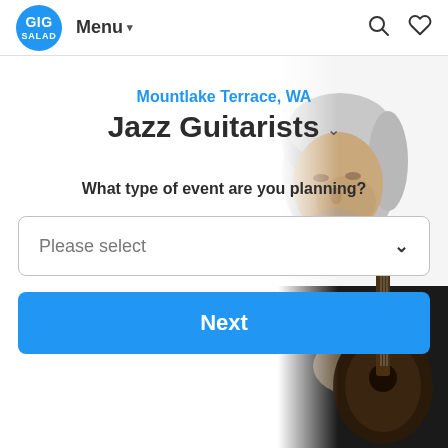GIG SALAD | Menu ▾
Mountlake Terrace, WA
Jazz Guitarists
[Figure (photo): Older man with grey hair playing a dark acoustic/jazz guitar, wearing a black jacket, photographed from above and to the left, right side of image]
What type of event are you planning?
Please select
Next